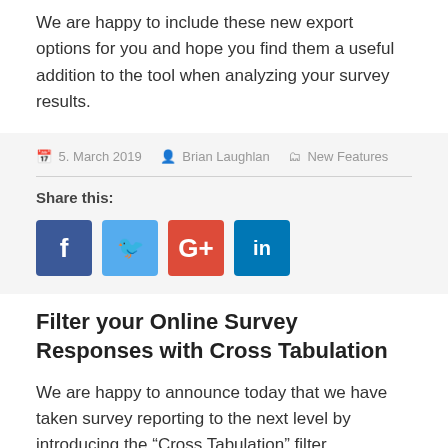We are happy to include these new export options for you and hope you find them a useful addition to the tool when analyzing your survey results.
5. March 2019  Brian Laughlan  New Features
Share this:
[Figure (other): Social media share buttons: Facebook (blue), Twitter (light blue), Google+ (red-orange), LinkedIn (teal)]
Filter your Online Survey Responses with Cross Tabulation
We are happy to announce today that we have taken survey reporting to the next level by introducing the “Cross Tabulation” filter.